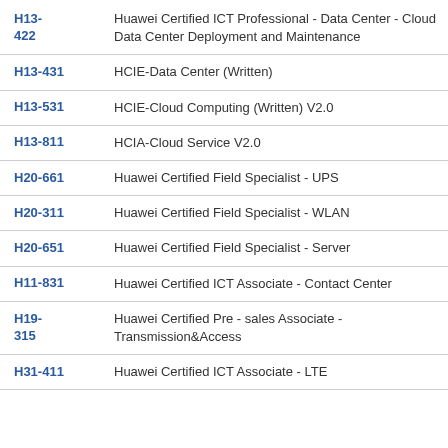| Code | Description |
| --- | --- |
| H13-422 | Huawei Certified ICT Professional - Data Center - Cloud Data Center Deployment and Maintenance |
| H13-431 | HCIE-Data Center (Written) |
| H13-531 | HCIE-Cloud Computing (Written) V2.0 |
| H13-811 | HCIA-Cloud Service V2.0 |
| H20-661 | Huawei Certified Field Specialist - UPS |
| H20-311 | Huawei Certified Field Specialist - WLAN |
| H20-651 | Huawei Certified Field Specialist - Server |
| H11-831 | Huawei Certified ICT Associate - Contact Center |
| H19-315 | Huawei Certified Pre - sales Associate - Transmission&Access |
| H31-411 | Huawei Certified ICT Associate - LTE |